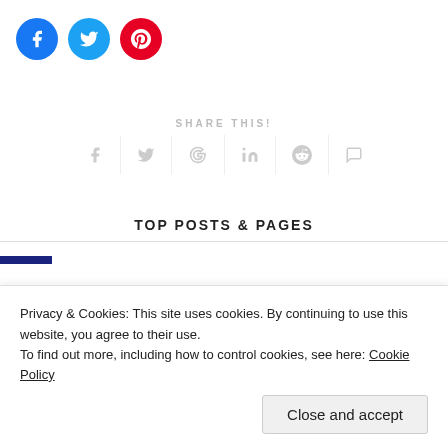[Figure (illustration): Three social share buttons: Facebook (blue circle with f), Twitter (cyan circle with bird), Pinterest (red circle with P)]
SHARE THIS!
[Figure (illustration): Social share icon row: Facebook f, Twitter bird, Google G, LinkedIn in, Reddit alien, WhatsApp phone — all in light gray, separated by vertical lines]
TOP POSTS & PAGES
Privacy & Cookies: This site uses cookies. By continuing to use this website, you agree to their use.
To find out more, including how to control cookies, see here: Cookie Policy